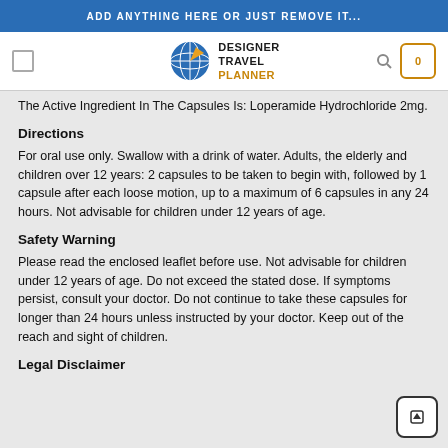ADD ANYTHING HERE OR JUST REMOVE IT...
[Figure (logo): Designer Travel Planner logo with globe icon]
The Active Ingredient In The Capsules Is: Loperamide Hydrochloride 2mg.
Directions
For oral use only. Swallow with a drink of water. Adults, the elderly and children over 12 years: 2 capsules to be taken to begin with, followed by 1 capsule after each loose motion, up to a maximum of 6 capsules in any 24 hours. Not advisable for children under 12 years of age.
Safety Warning
Please read the enclosed leaflet before use. Not advisable for children under 12 years of age. Do not exceed the stated dose. If symptoms persist, consult your doctor. Do not continue to take these capsules for longer than 24 hours unless instructed by your doctor. Keep out of the reach and sight of children.
Legal Disclaimer